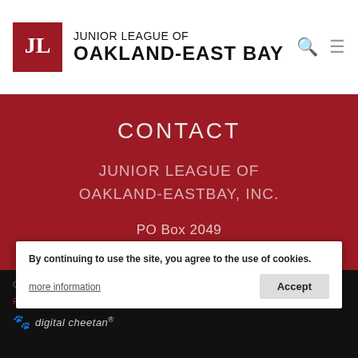Junior League of Oakland-East Bay
CONTACT
JUNIOR LEAGUE OF OAKLAND-EASTBAY, INC.
PO Box 2049
Danville, CA 94526
Ph: (925) 284-3740
Fx: (925) 284-5221
CONTACT US
Copyright | Privacy Statement | Shipping & Return Policy | digital cheetan®
By continuing to use the site, you agree to the use of cookies. more information  Accept